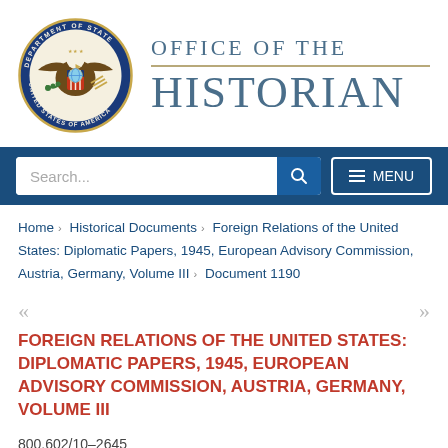[Figure (logo): U.S. Department of State seal — circular blue border with gold eagle and shield, text 'DEPARTMENT OF STATE' and 'UNITED STATES OF AMERICA']
OFFICE OF THE HISTORIAN
Search... MENU
Home › Historical Documents › Foreign Relations of the United States: Diplomatic Papers, 1945, European Advisory Commission, Austria, Germany, Volume III › Document 1190
« »
FOREIGN RELATIONS OF THE UNITED STATES: DIPLOMATIC PAPERS, 1945, EUROPEAN ADVISORY COMMISSION, AUSTRIA, GERMANY, VOLUME III
800.602/10–2645